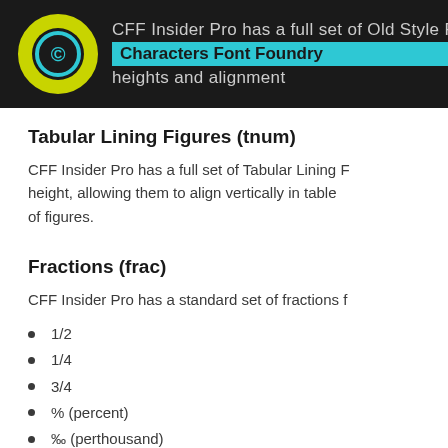CFF Insider Pro has a full set of Old Style Figures Characters Font Foundry heights and alignment
Tabular Lining Figures (tnum)
CFF Insider Pro has a full set of Tabular Lining Figures height, allowing them to align vertically in table of figures.
Fractions (frac)
CFF Insider Pro has a standard set of fractions f
1/2
1/4
3/4
% (percent)
‰ (perthousand)